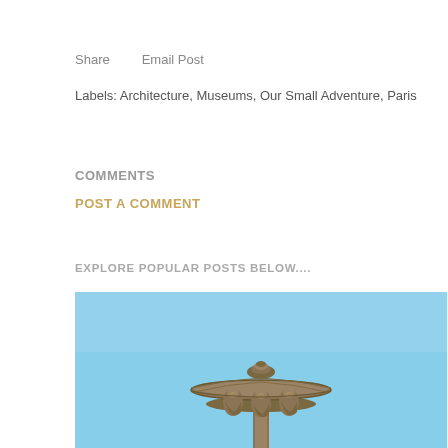Share    Email Post
Labels: Architecture, Museums, Our Small Adventure, Paris
COMMENTS
POST A COMMENT
EXPLORE POPULAR POSTS BELOW....
[Figure (photo): Ornate bronze fountain top with decorative figures and umbrella-shaped cap against a clear blue sky]